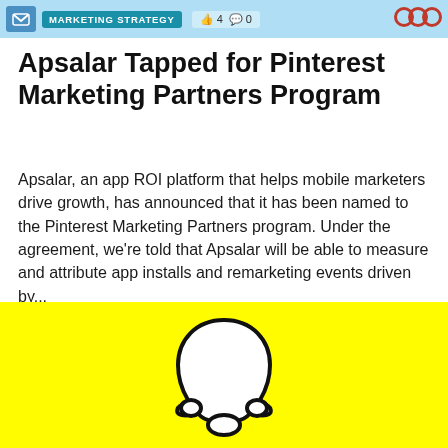MARKETING STRATEGY  👍 4  💬 0
Apsalar Tapped for Pinterest Marketing Partners Program
Apsalar, an app ROI platform that helps mobile marketers drive growth, has announced that it has been named to the Pinterest Marketing Partners program. Under the agreement, we're told that Apsalar will be able to measure and attribute app installs and remarketing events driven by...
By Jesse Kuehn November 10, 2016
[Figure (illustration): Yellow background with Snapchat ghost logo (white ghost outline on yellow) at the bottom of the page]